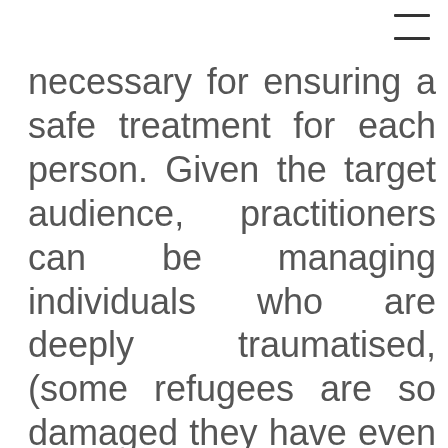necessary for ensuring a safe treatment for each person. Given the target audience, practitioners can be managing individuals who are deeply traumatised, (some refugees are so damaged they have even lost the power of speech) or those who perhaps lead generally chaotic, difficult lives due to addiction. In short, it's potentially a far more pressured environment than one to s…